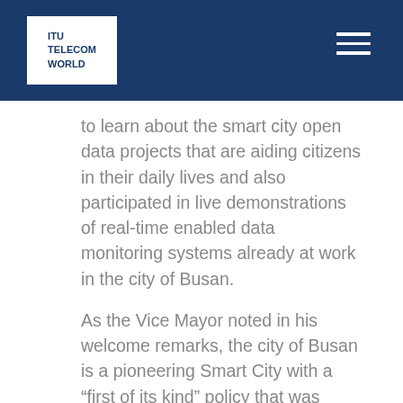ITU TELECOM WORLD
to learn about the smart city open data projects that are aiding citizens in their daily lives and also participated in live demonstrations of real-time enabled data monitoring systems already at work in the city of Busan.
As the Vice Mayor noted in his welcome remarks, the city of Busan is a pioneering Smart City with a “first of its kind” policy that was announced at ITU’s Plenipotentiary Conference in Busan in 2014. The attending Ministers were able to learn from the success of the test-bed projects currently deployed and to get inspired for the new IoT-led solutions that aim to improve the lives of citizens